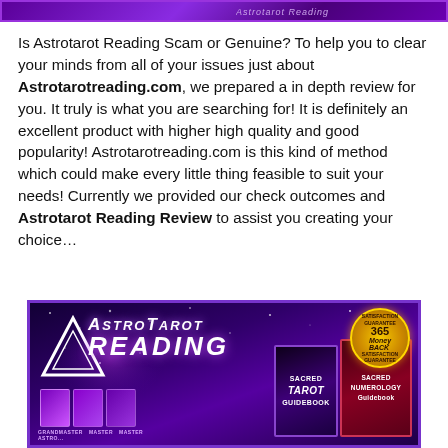[Figure (illustration): Purple banner header with decorative text 'Astrotarot Reading' in stylized script on dark purple starry background]
Is Astrotarot Reading Scam or Genuine? To help you to clear your minds from all of your issues just about Astrotarotreading.com, we prepared a in depth review for you. It truly is what you are searching for! It is definitely an excellent product with higher high quality and good popularity! Astrotarotreading.com is this kind of method which could make every little thing feasible to suit your needs! Currently we provided our check outcomes and Astrotarot Reading Review to assist you creating your choice…
[Figure (illustration): AstroTarot Reading promotional banner on dark purple starry background showing logo with triangle, title text 'AstroTarot Reading', book products including Sacred Tarot Guidebook and Sacred Numerology Guidebook, and a gold 365-day Money Back guarantee badge. Bottom shows Grandmaster labels.]